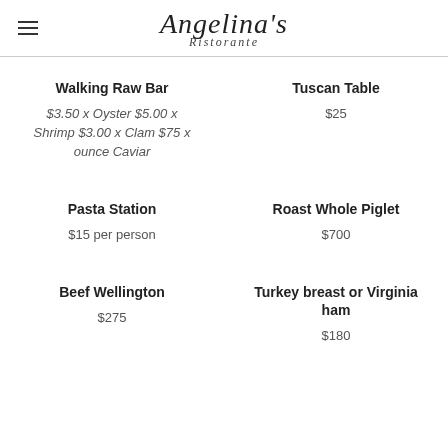Angelina's Ristorante
Walking Raw Bar
$3.50 x Oyster $5.00 x Shrimp $3.00 x Clam $75 x ounce Caviar
Tuscan Table
$25
Pasta Station
$15 per person
Roast Whole Piglet
$700
Beef Wellington
$275
Turkey breast or Virginia ham
$180